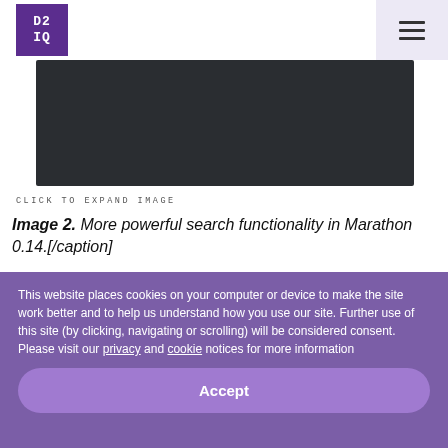[Figure (logo): D2IQ logo — white text on purple square background, pixelated/monospace style]
[Figure (screenshot): Dark screenshot showing Marathon 0.14 search functionality interface]
CLICK TO EXPAND IMAGE
Image 2. More powerful search functionality in Marathon 0.14.[/caption]
Mesos users can upgrade to Marathon 0.14 now to take advantage of these new features. It will also be
This website places cookies on your computer or device to make the site work better and to help us understand how you use our site. Further use of this site (by clicking, navigating or scrolling) will be considered consent. Please visit our privacy and cookie notices for more information
Accept